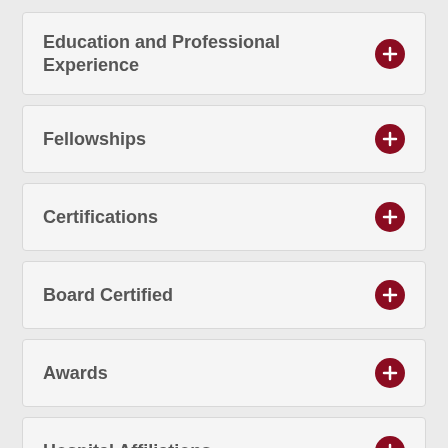Education and Professional Experience
Fellowships
Certifications
Board Certified
Awards
Hospital Affiliations